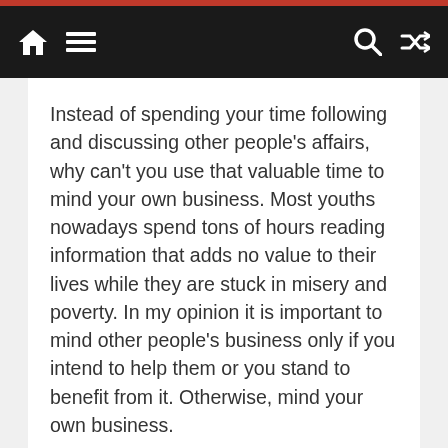[Navigation bar with home, menu, search, and shuffle icons]
Instead of spending your time following and discussing other people’s affairs, why can’t you use that valuable time to mind your own business. Most youths nowadays spend tons of hours reading information that adds no value to their lives while they are stuck in misery and poverty. In my opinion it is important to mind other people’s business only if you intend to help them or you stand to benefit from it. Otherwise, mind your own business.